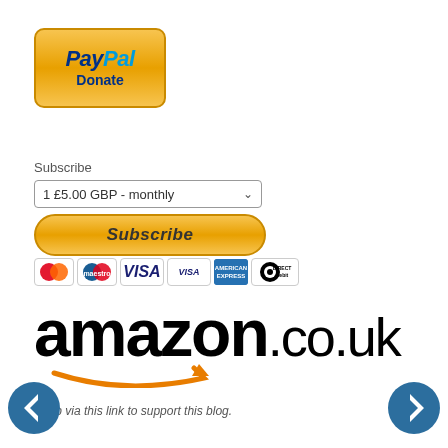[Figure (logo): PayPal Donate button with gold gradient background and rounded rectangle border]
Subscribe
[Figure (screenshot): Dropdown selector showing '1 £5.00 GBP - monthly']
[Figure (logo): Subscribe button with gold gradient and italic text]
[Figure (logo): Payment icons row: Mastercard, Maestro, Visa, Visa Electron, American Express, Direct Debit]
[Figure (logo): amazon.co.uk logo in bold black text with gold smile arrow underneath]
Shop via this link to support this blog.
[Figure (logo): Left navigation arrow button (blue circle with white left arrow)]
[Figure (logo): Right navigation arrow button (blue circle with white right arrow)]
[Figure (logo): amazon.com logo partial, bold black text]